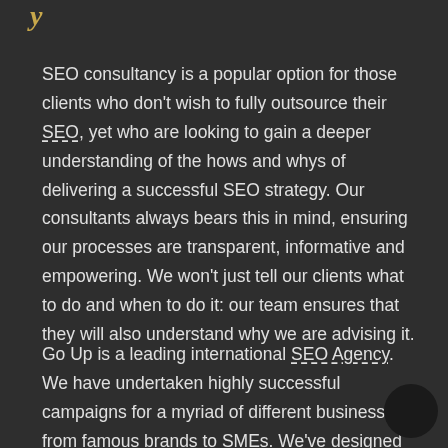SEO consultancy is a popular option for those clients who don't wish to fully outsource their SEO, yet who are looking to gain a deeper understanding of the hows and whys of delivering a successful SEO strategy. Our consultants always bears this in mind, ensuring our processes are transparent, informative and empowering. We won't just tell our clients what to do and when to do it: our team ensures that they will also understand why we are advising it.
Go Up is a leading international SEO Agency. We have undertaken highly successful campaigns for a myriad of different businesses: from famous brands to SMEs. We've designed our SEO consulting to utilize the